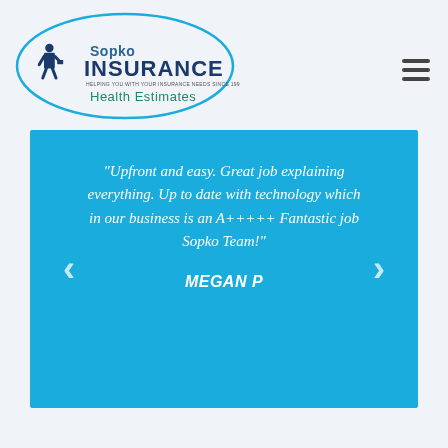[Figure (logo): Sopko Insurance Health Estimates logo with teal oval, figure in suit, and company name in navy/teal text]
"Upfront and easy. Great job explaining everything. Up to date with technology which in our business is an A+++++ Fantastic job Sopko Team!"
MEGAN P